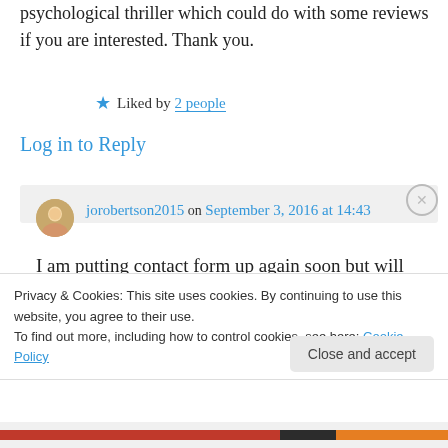psychological thriller which could do with some reviews if you are interested. Thank you.
★ Liked by 2 people
Log in to Reply
jorobertson2015 on September 3, 2016 at 14:43
I am putting contact form up again soon but will post on my blog when back accepting
Privacy & Cookies: This site uses cookies. By continuing to use this website, you agree to their use.
To find out more, including how to control cookies, see here: Cookie Policy
Close and accept